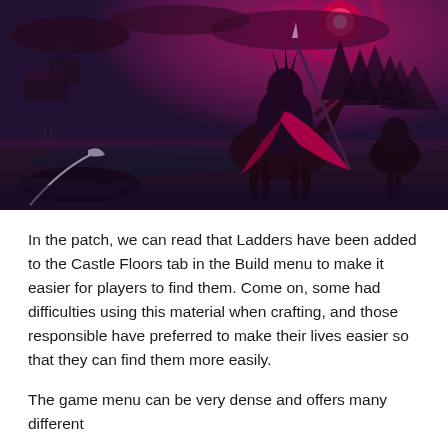[Figure (illustration): Fantasy game artwork showing a dark armored warrior on horseback wielding a spear, with a red/pink glowing sky, a castle in the background, and fallen warriors in the foreground. Dark, dramatic fantasy art style with magenta and teal color palette.]
In the patch, we can read that Ladders have been added to the Castle Floors tab in the Build menu to make it easier for players to find them. Come on, some had difficulties using this material when crafting, and those responsible have preferred to make their lives easier so that they can find them more easily.
The game menu can be very dense and offers many different